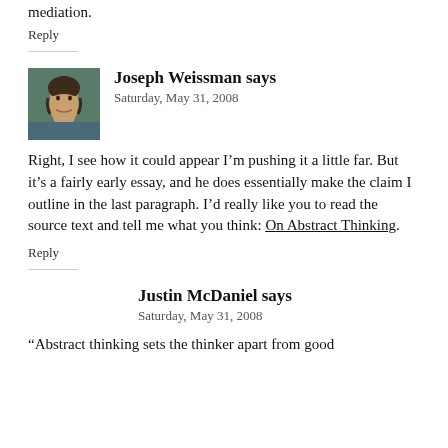mediation.
Reply
Joseph Weissman says
Saturday, May 31, 2008
Right, I see how it could appear I'm pushing it a little far. But it's a fairly early essay, and he does essentially make the claim I outline in the last paragraph. I'd really like you to read the source text and tell me what you think: On Abstract Thinking.
Reply
Justin McDaniel says
Saturday, May 31, 2008
“Abstract thinking sets the thinker apart from good